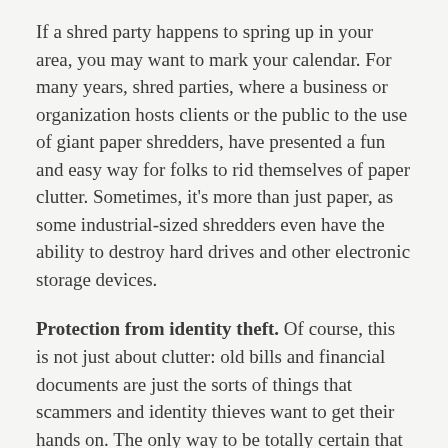If a shred party happens to spring up in your area, you may want to mark your calendar. For many years, shred parties, where a business or organization hosts clients or the public to the use of giant paper shredders, have presented a fun and easy way for folks to rid themselves of paper clutter. Sometimes, it's more than just paper, as some industrial-sized shredders even have the ability to destroy hard drives and other electronic storage devices.
Protection from identity theft. Of course, this is not just about clutter: old bills and financial documents are just the sorts of things that scammers and identity thieves want to get their hands on. The only way to be totally certain that you are safe is the total destruction of those documents and devices once their practical use has come to an end.
A shred party can also be a nice day out. It's not unusual for the big shredding trucks to be parked outside on a pleasant spring or summer day. Depending on the hosting organization, the shred party might be attached to some